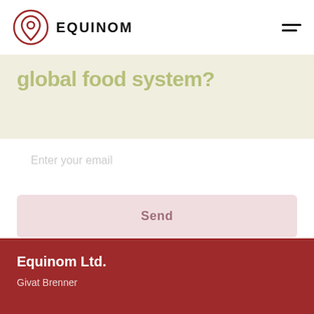EQUINOM
global food system?
Enter your email
Send
Equinom Ltd.
Givat Brenner